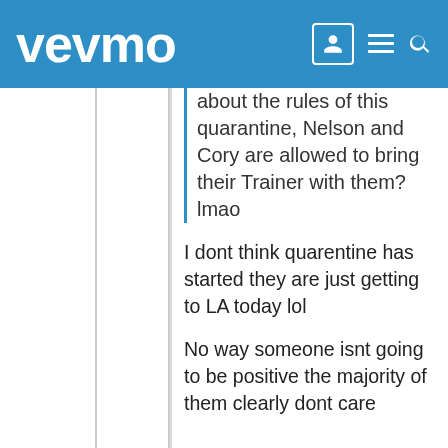vevmo
about the rules of this quarantine, Nelson and Cory are allowed to bring their Trainer with them? lmao
I dont think quarentine has started they are just getting to LA today lol
No way someone isnt going to be positive the majority of them clearly dont care